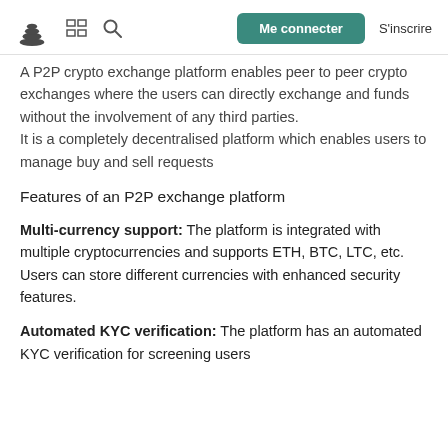Me connecter  S'inscrire
A P2P crypto exchange platform enables peer to peer crypto exchanges where the users can directly exchange and funds without the involvement of any third parties. It is a completely decentralised platform which enables users to manage buy and sell requests
Features of an P2P exchange platform
Multi-currency support: The platform is integrated with multiple cryptocurrencies and supports ETH, BTC, LTC, etc. Users can store different currencies with enhanced security features.
Automated KYC verification: The platform has an automated KYC verification for screening users